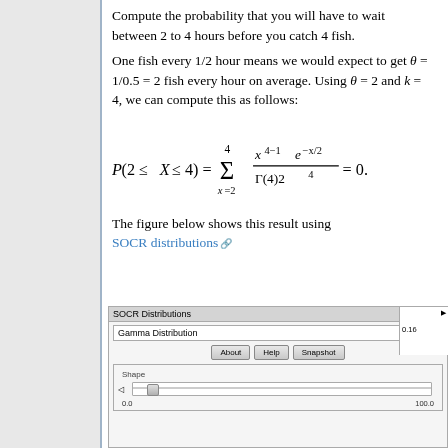Compute the probability that you will have to wait between 2 to 4 hours before you catch 4 fish.
One fish every 1/2 hour means we would expect to get θ = 1/0.5 = 2 fish every hour on average. Using θ = 2 and k = 4, we can compute this as follows:
The figure below shows this result using SOCR distributions
[Figure (screenshot): Screenshot of SOCR Distributions tool showing Gamma Distribution selected, with About/Help/Snapshot buttons and a Shape slider from 0.0 to 100.0]